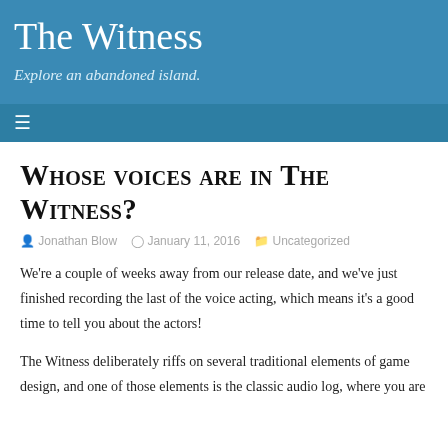The Witness
Explore an abandoned island.
Whose voices are in The Witness?
Jonathan Blow  January 11, 2016  Uncategorized
We're a couple of weeks away from our release date, and we've just finished recording the last of the voice acting, which means it's a good time to tell you about the actors!
The Witness deliberately riffs on several traditional elements of game design, and one of those elements is the classic audio log, where you are